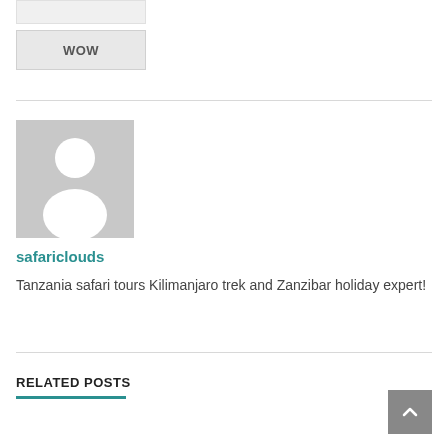[Figure (other): Empty input text field (light gray)]
[Figure (other): WOW button, gray background with bold text WOW]
[Figure (other): Default avatar/profile placeholder image — gray background with white silhouette of a person]
safariclouds
Tanzania safari tours Kilimanjaro trek and Zanzibar holiday expert!
RELATED POSTS